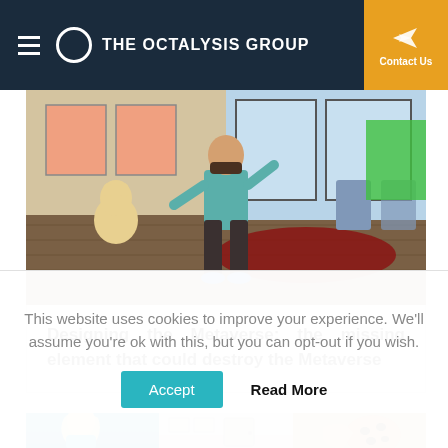THE OCTALYSIS GROUP
[Figure (screenshot): Metaverse virtual environment screenshot showing animated characters including a cat and a person with beard in a colorful indoor space]
Designing the Metaverse: the missing element that could destroy the Metaverse
[Figure (screenshot): Three-panel image strip showing: a woman with flowing hair in blue, a room interior scene, and hands holding a chocolate chip cookie]
This website uses cookies to improve your experience. We'll assume you're ok with this, but you can opt-out if you wish.